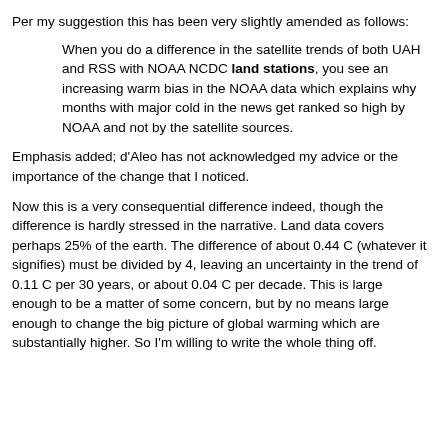Per my suggestion this has been very slightly amended as follows:
When you do a difference in the satellite trends of both UAH and RSS with NOAA NCDC land stations, you see an increasing warm bias in the NOAA data which explains why months with major cold in the news get ranked so high by NOAA and not by the satellite sources.
Emphasis added; d'Aleo has not acknowledged my advice or the importance of the change that I noticed.
Now this is a very consequential difference indeed, though the difference is hardly stressed in the narrative. Land data covers perhaps 25% of the earth. The difference of about 0.44 C (whatever it signifies) must be divided by 4, leaving an uncertainty in the trend of 0.11 C per 30 years, or about 0.04 C per decade. This is large enough to be a matter of some concern, but by no means large enough to change the big picture of global warming which are substantially higher. So I'm willing to write the whole thing off.